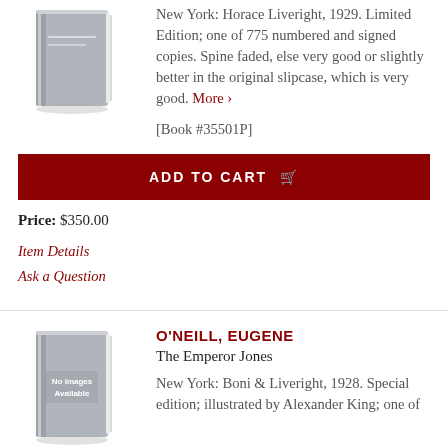[Figure (illustration): Gray book illustration placeholder, no image available]
New York: Horace Liveright, 1929. Limited Edition; one of 775 numbered and signed copies. Spine faded, else very good or slightly better in the original slipcase, which is very good. More ›
[Book #35501P]
ADD TO CART
Price: $350.00
Item Details
Ask a Question
[Figure (illustration): Gray book illustration with 'No Images Available' text]
O'NEILL, EUGENE
The Emperor Jones
New York: Boni & Liveright, 1928. Special edition; illustrated by Alexander King; one of